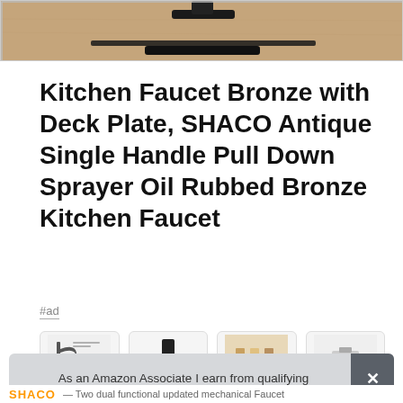[Figure (photo): Product image showing top portion of a kitchen faucet in oil rubbed bronze against a tan/stone background]
Kitchen Faucet Bronze with Deck Plate, SHACO Antique Single Handle Pull Down Sprayer Oil Rubbed Bronze Kitchen Faucet
#ad
[Figure (photo): Row of four product thumbnail images showing different views or variants of the kitchen faucet]
As an Amazon Associate I earn from qualifying purchases. This website uses the only necessary cookies to ensure you get the best experience on our website. More information
SHACO — Two dual functional updated mechanical Faucet